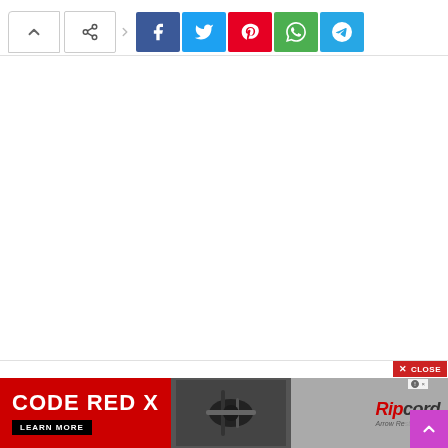[Figure (screenshot): Social sharing toolbar with up arrow button, share icon, arrow, and social media buttons for Facebook (blue), Twitter (light blue), Pinterest (red), WhatsApp (green), Telegram (teal)]
[Figure (screenshot): Advertisement banner: CODE RED X by Ripcord Arrow Rest with LEARN MORE button on black, product image in center, and Ripcord branding on gray background. Close button in red top right. Purple scroll-up button bottom right.]